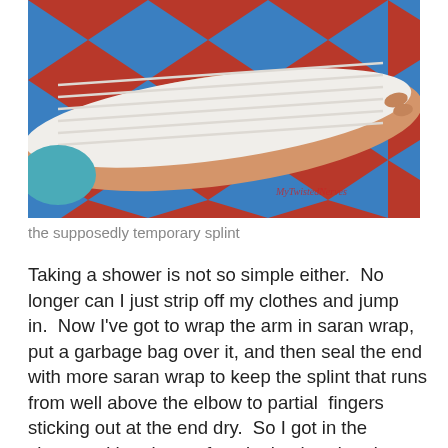[Figure (photo): A bandaged/splinted arm resting on a red, white, and blue diamond-patterned fabric (bedspread). The arm is wrapped in white bandages from above the elbow down to the hand, with fingertips visible. A small red watermark/text is visible in the lower right area of the photo.]
the supposedly temporary splint
Taking a shower is not so simple either.  No longer can I just strip off my clothes and jump in.  Now I've got to wrap the arm in saran wrap, put a garbage bag over it, and then seal the end with more saran wrap to keep the splint that runs from well above the elbow to partial  fingers sticking out at the end dry.  So I got in the shower with only one functioning hand and found only the liquid soap in a pump